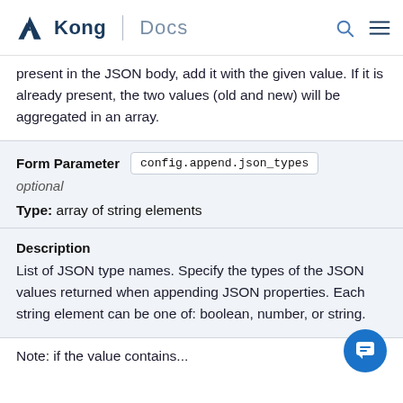Kong | Docs
present in the JSON body, add it with the given value. If it is already present, the two values (old and new) will be aggregated in an array.
Form Parameter config.append.json_types
optional
Type: array of string elements
Description
List of JSON type names. Specify the types of the JSON values returned when appending JSON properties. Each string element can be one of: boolean, number, or string.
Note: if the value contains...